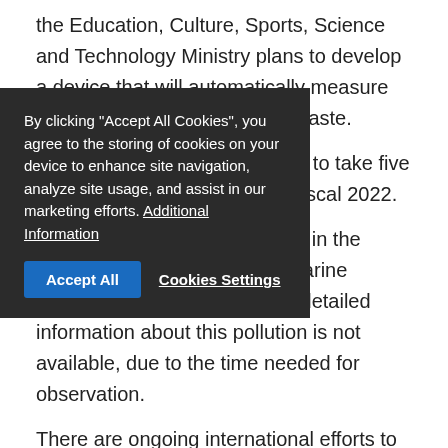the Education, Culture, Sports, Science and Technology Ministry plans to develop a device that will automatically measure the amount and type of such waste.
The development is scheduled to take five years, from this fiscal year to fiscal 2022.
Microplastics have been found in the oceans and in the bodies of marine animals across the world, but detailed information about this pollution is not available, due to the time needed for observation.
There are ongoing international efforts to understand the extent of microplastic distribution in the sea and its influence on the ecosystem, according to the sources.
Using information such as the wavelengths of light
By clicking "Accept All Cookies", you agree to the storing of cookies on your device to enhance site navigation, analyze site usage, and assist in our marketing efforts. Additional Information